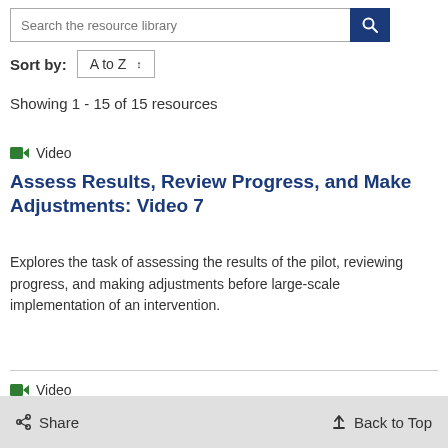[Figure (screenshot): Search bar with text 'Search the resource library' and a dark blue search button with magnifying glass icon]
Sort by: A to Z
Showing 1 - 15 of 15 resources
Video
Assess Results, Review Progress, and Make Adjustments: Video 7
Explores the task of assessing the results of the pilot, reviewing progress, and making adjustments before large-scale implementation of an intervention.
Video
apacity and Scale
Share
Back to Top